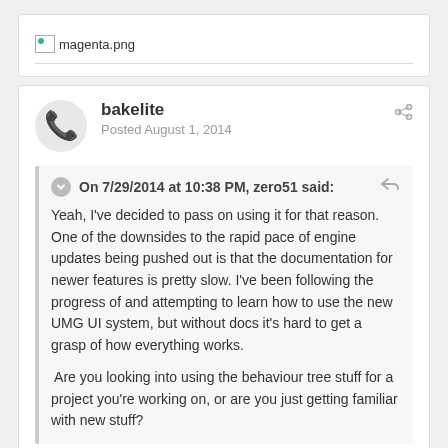[Figure (illustration): Broken image placeholder showing magenta.png]
bakelite
Posted August 1, 2014
On 7/29/2014 at 10:38 PM, zero51 said:
Yeah, I've decided to pass on using it for that reason. One of the downsides to the rapid pace of engine updates being pushed out is that the documentation for newer features is pretty slow. I've been following the progress of and attempting to learn how to use the new UMG UI system, but without docs it's hard to get a grasp of how everything works.

 Are you looking into using the behaviour tree stuff for a project you're working on, or are you just getting familiar with new stuff?
On the other hand it doesn't make sense to write documentation that will